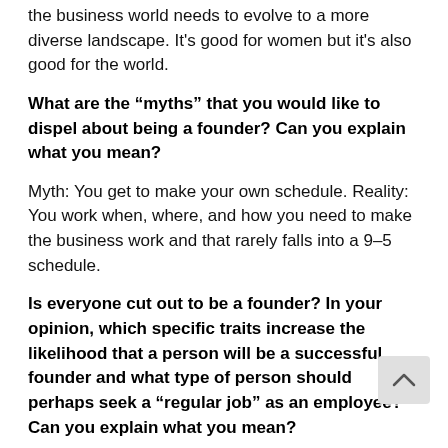the business world needs to evolve to a more diverse landscape. It's good for women but it's also good for the world.
What are the “myths” that you would like to dispel about being a founder? Can you explain what you mean?
Myth: You get to make your own schedule. Reality: You work when, where, and how you need to make the business work and that rarely falls into a 9–5 schedule.
Is everyone cut out to be a founder? In your opinion, which specific traits increase the likelihood that a person will be a successful founder and what type of person should perhaps seek a “regular job” as an employee? Can you explain what you mean?
No. Beyond the time commitment required to start a